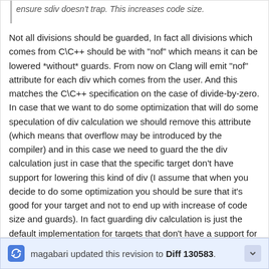ensure sdiv doesn't trap. This increases code size.
Not all divisions should be guarded, In fact all divisions which comes from C\C++ should be with "nof" which means it can be lowered *without* guards. From now on Clang will emit "nof" attribute for each div which comes from the user. And this matches the C\C++ specification on the case of divide-by-zero.
In case that we want to do some optimization that will do some speculation of div calculation we should remove this attribute (which means that overflow may be introduced by the compiler) and in this case we need to guard the the div calculation just in case that the specific target don't have support for lowering this kind of div (I assume that when you decide to do some optimization you should be sure that it's good for your target and not to end up with increase of code size and guards). In fact guarding div calculation is just the default implementation for targets that don't have a support for div that may overflow. In X86 we choose to simulate that div calculation using FP div which seems to be more efficient in some cases.
magabari updated this revision to Diff 130583.